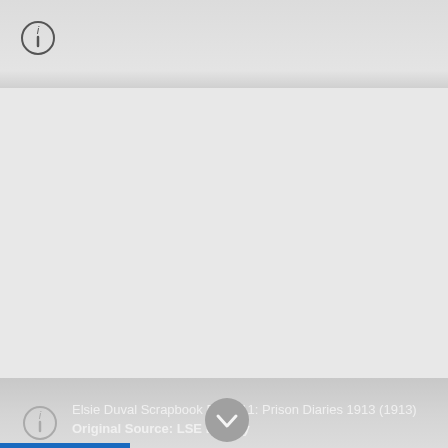[Figure (screenshot): Info icon (circle with lowercase i) in top left corner of a gray UI interface]
Elsie Duval Scrapbook Page 11: Prison Diaries 1913 (1913)
Original Source: LSE Library
[Figure (other): Chevron/down arrow button icon in gray circle]